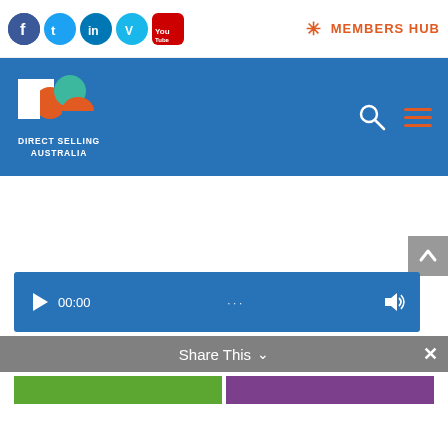[Figure (screenshot): Social media icons: Facebook, Twitter, LinkedIn, Vimeo, YouTube]
MEMBERS HUB
[Figure (logo): Direct Selling Australia logo with blue navigation bar, search icon and hamburger menu]
[Figure (screenshot): Media player bar showing 00:00 timestamp and volume icon]
Share This
[Figure (screenshot): Bottom color buttons: green and purple]